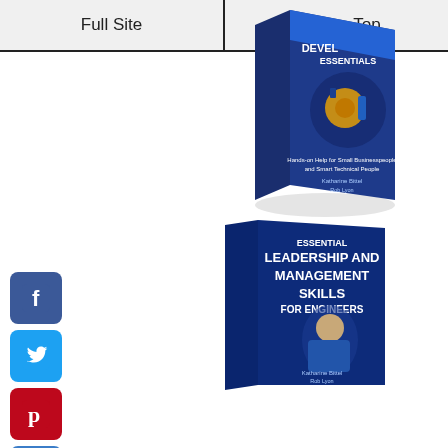Full Site | Back to Top
[Figure (photo): 3D book cover: Product Development Essentials - Hands-on Help for Small Businesspeople and Smart Technical People]
[Figure (photo): 3D book cover: Essential Leadership and Management Skills for Engineers]
[Figure (other): Social media sharing icons: Facebook, Twitter, Pinterest, Add]